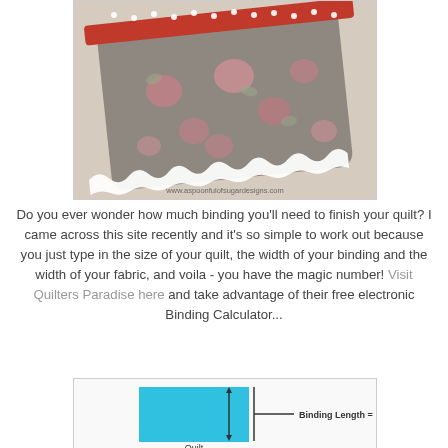[Figure (photo): A floral fabric item (pouch or small bag) with grey background printed with pink roses, a red polka-dot trim at top, and white lace edging along the bottom, resting on a beige surface. Watermark: www.aspoonfulofsugardesigns.com]
Do you ever wonder how much binding you'll need to finish your quilt? I came across this site recently and it's so simple to work out because you just type in the size of your quilt, the width of your binding and the width of your fabric, and voila - you have the magic number! Visit Quilters Paradise here and take advantage of their free electronic Binding Calculator...
[Figure (infographic): A diagram showing a blue rectangle labeled 'Quilt' with an arrow indicating 'Binding Length =' to the right.]